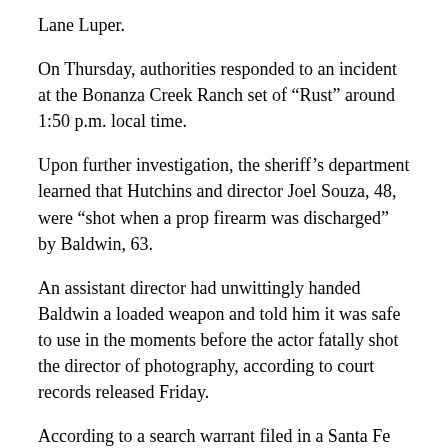Lane Luper.
On Thursday, authorities responded to an incident at the Bonanza Creek Ranch set of “Rust” around 1:50 p.m. local time.
Upon further investigation, the sheriff’s department learned that Hutchins and director Joel Souza, 48, were “shot when a prop firearm was discharged” by Baldwin, 63.
An assistant director had unwittingly handed Baldwin a loaded weapon and told him it was safe to use in the moments before the actor fatally shot the director of photography, according to court records released Friday.
According to a search warrant filed in a Santa Fe court, the assistant director announced the weapon was a “cold gun.” However, the gun had been loaded with live rounds, according to court records. When Baldwin pulled the trigger on the set, he struck cinematographer Hutchins, as well as Souza.